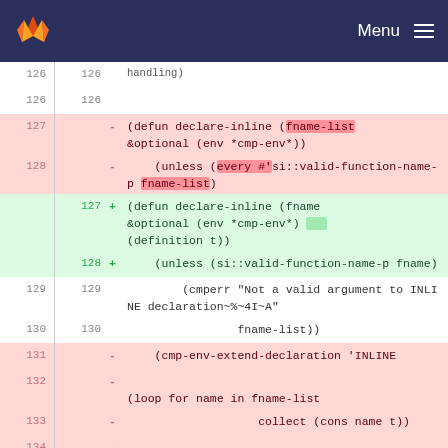Menu
[Figure (screenshot): GitLab diff view showing code changes to a Lisp file. Lines 127-128 show removed lines (red) with declare-inline and unless clauses using fname-list. Lines 127-128 show added lines (green) with declare-inline taking fname parameter with definition t and unless clause. Lines 129-134 show context lines with cmperr, fname-list, cmp-env-extend-declaration, INLINE, loop, collect, and env code.]